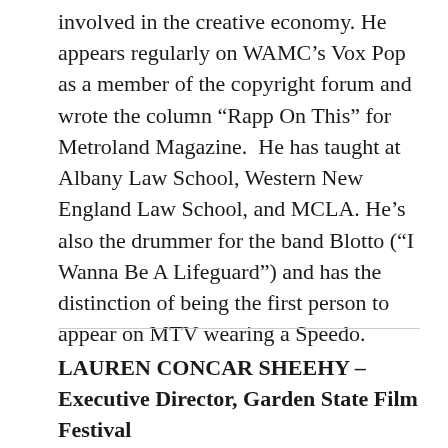involved in the creative economy. He appears regularly on WAMC's Vox Pop as a member of the copyright forum and wrote the column “Rapp On This” for Metroland Magazine.  He has taught at Albany Law School, Western New England Law School, and MCLA. He’s also the drummer for the band Blotto (“I Wanna Be A Lifeguard”) and has the distinction of being the first person to appear on MTV wearing a Speedo.
LAUREN CONCAR SHEEHY – Executive Director, Garden State Film Festival